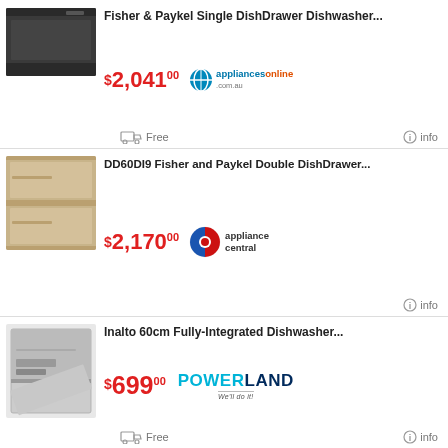Fisher & Paykel Single DishDrawer Dishwasher...
$2,041.00 appliancesonline.com.au
Free | info
DD60DI9 Fisher and Paykel Double DishDrawer...
$2,170.00 appliance central
info
Inalto 60cm Fully-Integrated Dishwasher...
$699.00 POWERLAND We'll do it!
Free | info